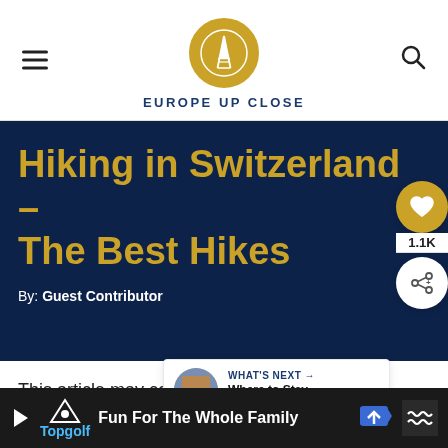EUROPE UP CLOSE
Hiking in Switzerland – The Best Hikes
By: Guest Contributor
This article may contain affiliate links. We may earn a small commission if you buy through our li...
[Figure (logo): Europe Up Close logo: gold circle with Eiffel Tower outline, text EUROPE UP CLOSE below]
WHAT'S NEXT → Where to Stay in Venice, Ital...
[Figure (infographic): Advertisement bar: Topgolf - Fun For The Whole Family]